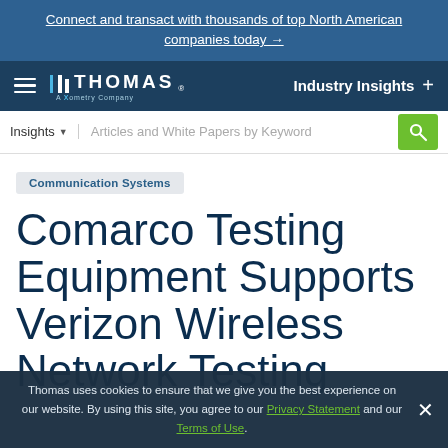Connect and transact with thousands of top North American companies today →
[Figure (logo): Thomas - A Xometry Company logo with nav bar showing Industry Insights]
Insights ▾  Articles and White Papers by Keyword [search button]
Communication Systems
Comarco Testing Equipment Supports Verizon Wireless Network Testing
Thomas uses cookies to ensure that we give you the best experience on our website. By using this site, you agree to our Privacy Statement and our Terms of Use.